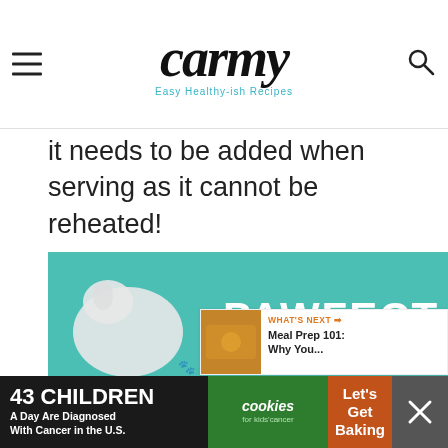carmy — Easy Healthy-ish Recipes
it needs to be added when serving as it cannot be reheated!
[Figure (other): Advertisement banner: PAWFECT MATCH — shows a dog illustration on teal background with close button X]
[Figure (other): Floating sidebar with heart/like button (843 likes) and share button]
[Figure (other): WHAT'S NEXT → Meal Prep 101: Why You... with food thumbnail]
[Figure (other): Bottom ad banner: 43 CHILDREN A Day Are Diagnosed With Cancer in the U.S. | cookies for kids cancer | Let's Get Baking | close X]